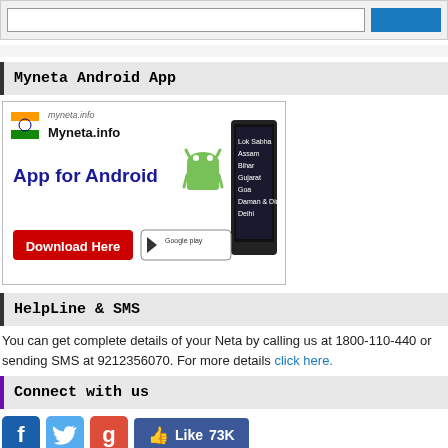[Figure (screenshot): Top search bar with input field and blue button]
Myneta Android App
[Figure (illustration): Myneta.info App for Android banner with Android robot, phone/tablet device showing Lok Sabha, Assam, Bihar, Gujarat, Goa, Daman & Diu, Delhi, Download Here button and Google Play logo]
HelpLine & SMS
You can get complete details of your Neta by calling us at 1800-110-440 or sending SMS at 9212356070. For more details click here.
Connect with us
[Figure (infographic): Social media icons: Facebook (blue f), Twitter (bird), Google+ (g), and Like 73K button]
For news alert,enter your email id
[Figure (screenshot): Email subscription input with placeholder 'email-id to subscribe' and Join button]